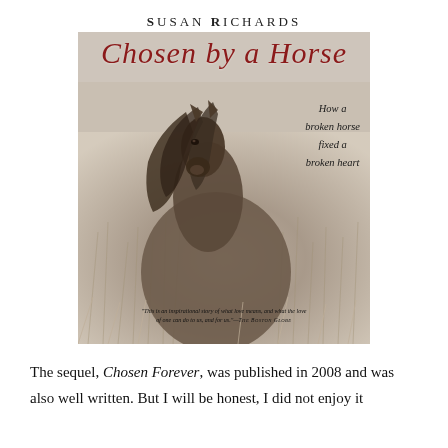SUSAN RICHARDS
[Figure (photo): Book cover of 'Chosen by a Horse' by Susan Richards. Features a sepia-toned photograph of a horse with flowing mane in a field of tall grass. Title in dark red italic script reads 'Chosen by a Horse'. Subtitle text: 'How a broken horse fixed a broken heart'. Quote at bottom from The Boston Globe: 'This is an inspirational story of what love means, and what the love of one can do to us, and for us.']
The sequel, Chosen Forever, was published in 2008 and was also well written. But I will be honest, I did not enjoy it